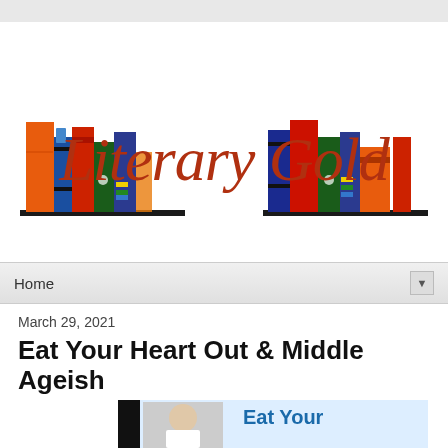[Figure (logo): Literary Gold blog logo with colorful illustrated books on left and right sides and red cursive text 'Literary Gold' in the center]
Home
March 29, 2021
Eat Your Heart Out & Middle Ageish
[Figure (photo): Partial view of a book cover showing a person and the text 'Eat Your']